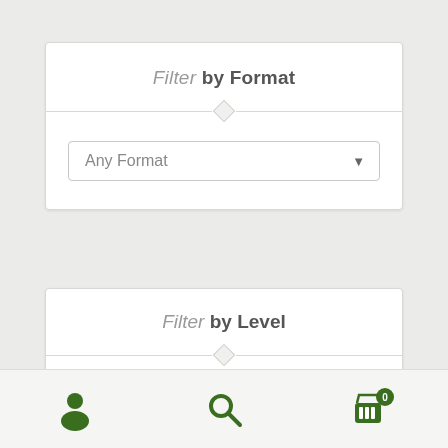Filter by Format
Any Format
Filter by Level
[Figure (screenshot): Bottom navigation toolbar with user/account icon, search magnifier icon, and shopping cart icon with badge showing 0]